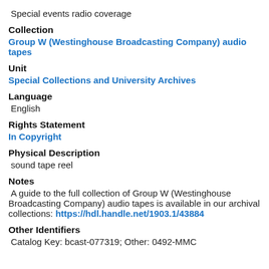Special events radio coverage
Collection
Group W (Westinghouse Broadcasting Company) audio tapes
Unit
Special Collections and University Archives
Language
English
Rights Statement
In Copyright
Physical Description
sound tape reel
Notes
A guide to the full collection of Group W (Westinghouse Broadcasting Company) audio tapes is available in our archival collections: https://hdl.handle.net/1903.1/43884
Other Identifiers
Catalog Key: bcast-077319; Other: 0492-MMC